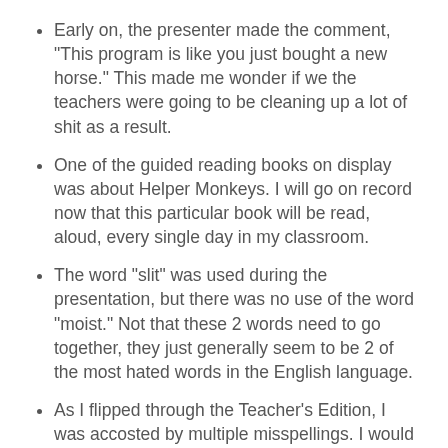Early on, the presenter made the comment, "This program is like you just bought a new horse." This made me wonder if we the teachers were going to be cleaning up a lot of shit as a result.
One of the guided reading books on display was about Helper Monkeys. I will go on record now that this particular book will be read, aloud, every single day in my classroom.
The word "slit" was used during the presentation, but there was no use of the word "moist." Not that these 2 words need to go together, they just generally seem to be 2 of the most hated words in the English language.
As I flipped through the Teacher's Edition, I was accosted by multiple misspellings. I would just like to throw my hat into the ring as a potential spell-checker for new curriculums (curricula?) in the future. I would only charge a modest $5,000.
Exactly when did "conversate" become a real